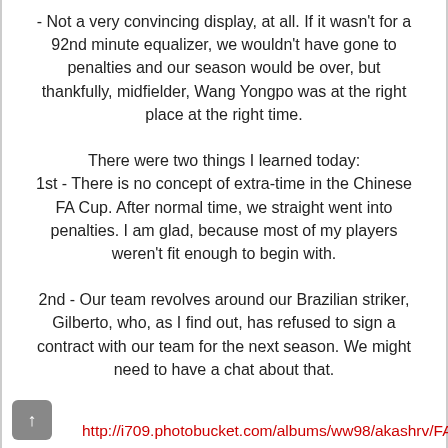- Not a very convincing display, at all. If it wasn't for a 92nd minute equalizer, we wouldn't have gone to penalties and our season would be over, but thankfully, midfielder, Wang Yongpo was at the right place at the right time.
There were two things I learned today:
1st - There is no concept of extra-time in the Chinese FA Cup. After normal time, we straight went into penalties. I am glad, because most of my players weren't fit enough to begin with.
2nd - Our team revolves around our Brazilian striker, Gilberto, who, as I find out, has refused to sign a contract with our team for the next season. We might need to have a chat about that.
http://i709.photobucket.com/albums/ww98/akashrv/FA